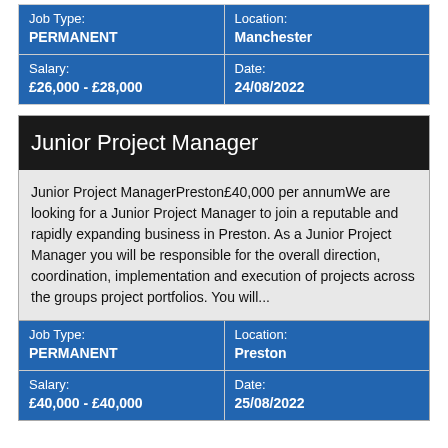| Job Type:
PERMANENT | Location:
Manchester |
| Salary:
£26,000 - £28,000 | Date:
24/08/2022 |
Junior Project Manager
Junior Project ManagerPreston£40,000 per annumWe are looking for a Junior Project Manager to join a reputable and rapidly expanding business in Preston. As a Junior Project Manager you will be responsible for the overall direction, coordination, implementation and execution of projects across the groups project portfolios. You will...
| Job Type:
PERMANENT | Location:
Preston |
| Salary:
£40,000 - £40,000 | Date:
25/08/2022 |